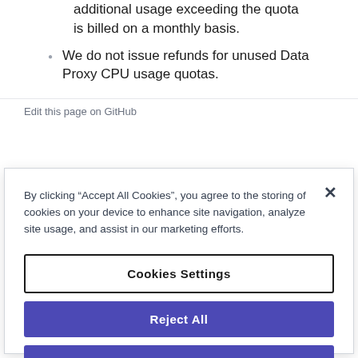additional usage exceeding the quota is billed on a monthly basis.
We do not issue refunds for unused Data Proxy CPU usage quotas.
Edit this page on GitHub
By clicking “Accept All Cookies”, you agree to the storing of cookies on your device to enhance site navigation, analyze site usage, and assist in our marketing efforts.
Cookies Settings
Reject All
Accept All Cookies